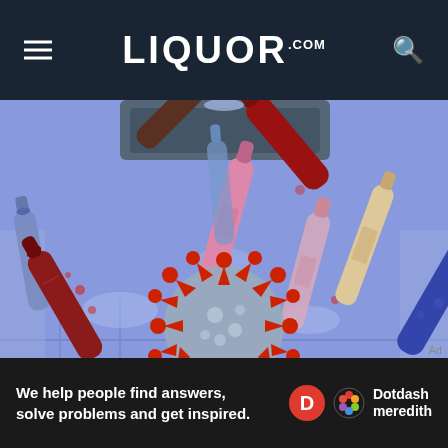LIQUOR.COM
[Figure (illustration): Illustration of various liquor/wine bottles (dark brown, pink, blue, red, beige/cream, dark blue) scattered on a purple-blue surface with a coronavirus particle in the center, viewed from above, with a laptop visible at the top]
Ad
We help people find answers, solve problems and get inspired. Dotdash meredith